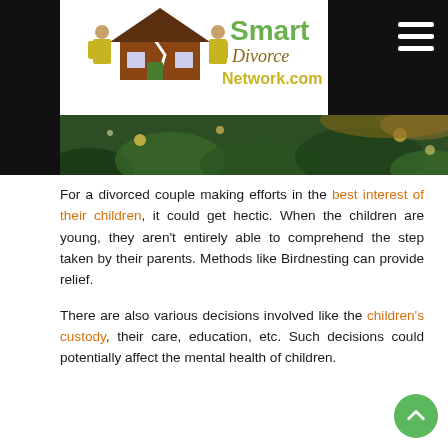Smart Divorce Network.com
[Figure (photo): Christmas tree branches with bokeh lights and a person's hair visible, hero banner image]
For a divorced couple making efforts in the best interest of their children, it could get hectic. When the children are young, they aren't entirely able to comprehend the step taken by their parents. Methods like Birdnesting can provide relief.
There are also various decisions involved like the children's custody, their care, education, etc. Such decisions could potentially affect the mental health of children.